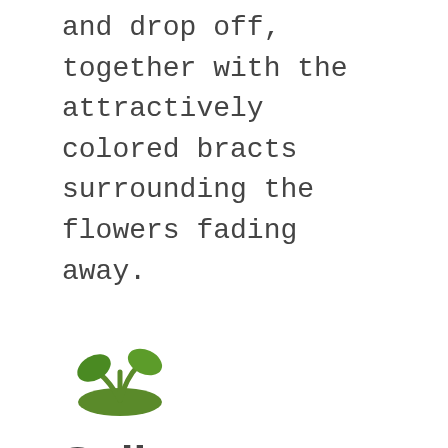and drop off, together with the attractively colored bracts surrounding the flowers fading away.
[Figure (illustration): Green seedling sprout icon with two leaves emerging from a small mound of soil]
Soil
It requires loose and well-draining good quality soil. Or make your mix by combining bits such as perlite or pumice